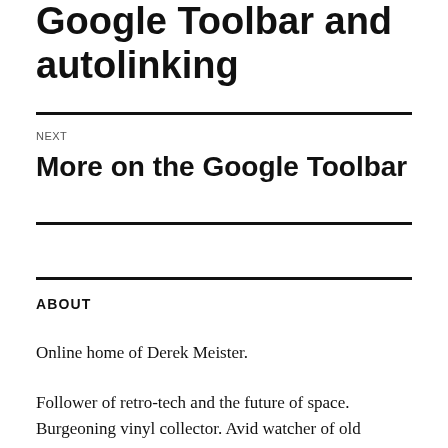Google Toolbar and autolinking
NEXT
More on the Google Toolbar
ABOUT
Online home of Derek Meister.
Follower of retro-tech and the future of space. Burgeoning vinyl collector. Avid watcher of old